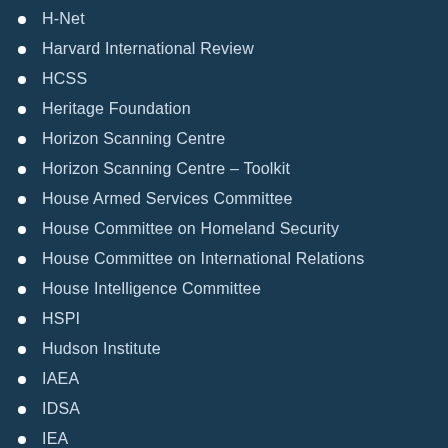H-Net
Harvard International Review
HCSS
Heritage Foundation
Horizon Scanning Centre
Horizon Scanning Centre – Toolkit
House Armed Services Committee
House Committee on Homeland Security
House Committee on International Relations
House Intelligence Committee
HSPI
Hudson Institute
IAEA
IDSA
IEA
IFRI
IHEDN
IISS